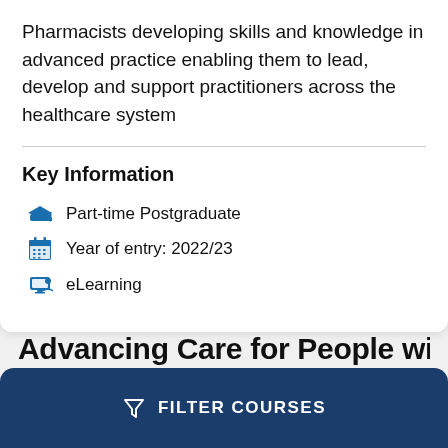Pharmacists developing skills and knowledge in advanced practice enabling them to lead, develop and support practitioners across the healthcare system
Key Information
Part-time Postgraduate
Year of entry: 2022/23
eLearning
Advancing Care for People with
FILTER COURSES